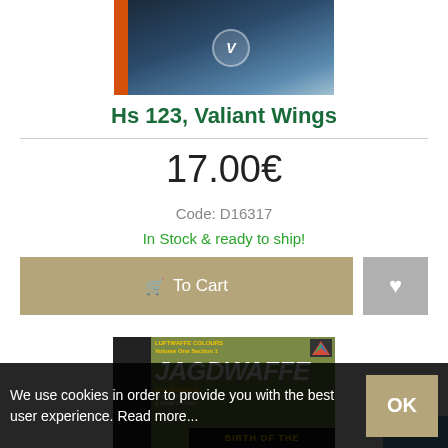[Figure (photo): Book cover image for Hs 123, Valiant Wings — dark blue and orange spine with aircraft imagery]
Hs 123, Valiant Wings
17.00€
Code: D16317
In Stock & ready to ship!
To Cart
[Figure (photo): Book cover for Jagdwaffe — Luftwaffe Colours Volume One Section 1 by Eric Momboek, with co-authors J. Richard Sach and Eddie J. Creek. Yellow and white bold text on olive/dark background.]
We use cookies in order to provide you with the best user experience. Read more...
OK